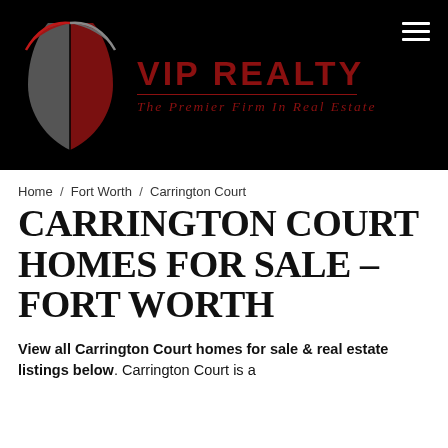[Figure (logo): VIP Realty logo with red and grey shield/leaf icon and text 'VIP REALTY – The Premier Firm In Real Estate' on black background]
Home / Fort Worth / Carrington Court
CARRINGTON COURT HOMES FOR SALE – FORT WORTH
View all Carrington Court homes for sale & real estate listings below. Carrington Court is a